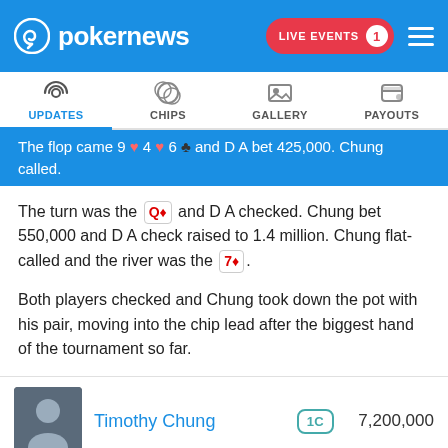pokernews — LIVE EVENTS 1
UPDATES | CHIPS | GALLERY | PAYOUTS
The flop came 9♥ 4♥ 6♣ and D A bet 425,000. Chung called.
The turn was the Q♦ and D A checked. Chung bet 550,000 and D A check raised to 1.4 million. Chung flat-called and the river was the 7♦.
Both players checked and Chung took down the pot with his pair, moving into the chip lead after the biggest hand of the tournament so far.
| Player | Rank | Chips |
| --- | --- | --- |
| Timothy Chung | 1C | 7,200,000 |
| D A |  | 4,200,000 |